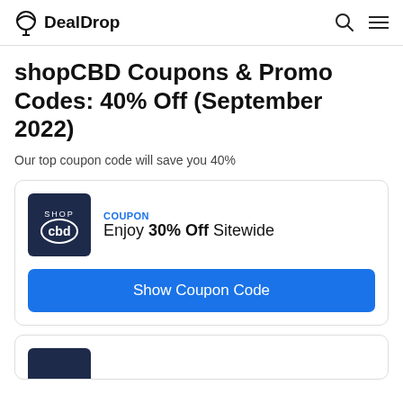DealDrop
shopCBD Coupons & Promo Codes: 40% Off (September 2022)
Our top coupon code will save you 40%
[Figure (logo): shopCBD logo - dark navy square with SHOP CBD text]
COUPON
Enjoy 30% Off Sitewide
Show Coupon Code